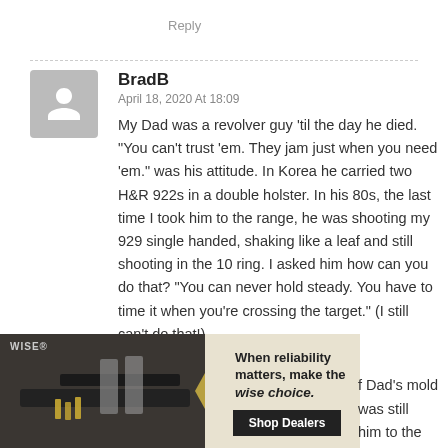Reply
BradB
April 18, 2020 At 18:09
My Dad was a revolver guy 'til the day he died. “You can’t trust ’em. They jam just when you need ’em.” was his attitude. In Korea he carried two H&R 922s in a double holster. In his 80s, the last time I took him to the range, he was shooting my 929 single handed, shaking like a leaf and still shooting in the 10 ring. I asked him how can you do that? “You can never hold steady. You have to time it when you’re crossing the target.” (I still can’t do that!)
[Figure (photo): Advertisement for WISE brand firearms with text 'When reliability matters, make the wise choice. Shop Dealers' overlaid on a dark photo of a rifle with ammunition magazines]
f Dad’s mold was still him to the